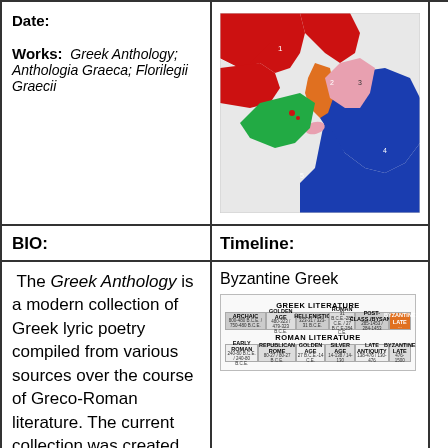Date:

Works: Greek Anthology; Anthologia Graeca; Florilegii Graecii
[Figure (map): Colored map of the Mediterranean/Roman world showing different regions in red, orange, pink, green, and blue]
BIO:
Timeline:
The Greek Anthology is a modern collection of Greek lyric poetry compiled from various sources over the course of Greco-Roman literature. The current collection was created from two major sources, one from the 10th century CE and one from the 14th century CE.
[Figure (infographic): Byzantine Greek label followed by a timeline chart showing Greek Literature and Roman Literature periods including Archaic, Golden Age, Hellenistic, Roman, Post-classical/Byzantine periods and Early Roman, Republican Rome, Golden Age, Silver Age, Late Antiquity, Byzantine Late rows]